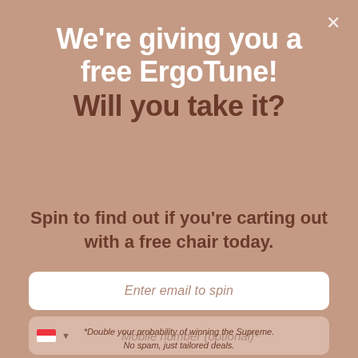We're giving you a free ErgoTune! Will you take it?
Spin to find out if you're carting out with a free chair today.
Enter email to spin
Mobile number (optional)*
*Double your probability of winning the Supreme. No spam, just tailored deals.